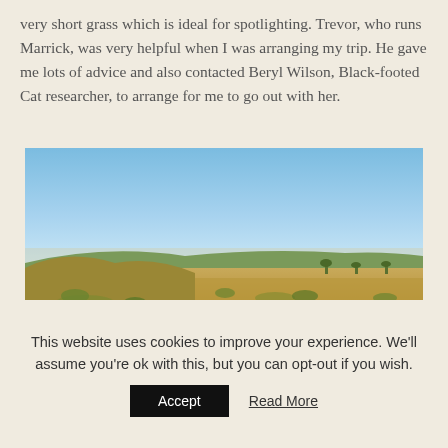very short grass which is ideal for spotlighting. Trevor, who runs Marrick, was very helpful when I was arranging my trip. He gave me lots of advice and also contacted Beryl Wilson, Black-footed Cat researcher, to arrange for me to go out with her.
[Figure (photo): A landscape photo showing a semi-arid savanna terrain with short dry grass, scattered rocks, sparse low shrubs and small trees on a hillside, under a clear blue sky.]
This website uses cookies to improve your experience. We'll assume you're ok with this, but you can opt-out if you wish.
Accept   Read More